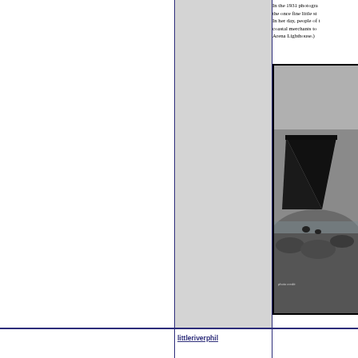In the 1931 photograph, the once fine little st... In her day, people of t... coastal merchants to... Arena Lighthouse.)
[Figure (photo): Black and white historical photograph showing a large dark triangular hull or wreck of a ship (possibly a schooner) on a rocky shoreline or beach, with rocky terrain visible around it.]
littleriverphil